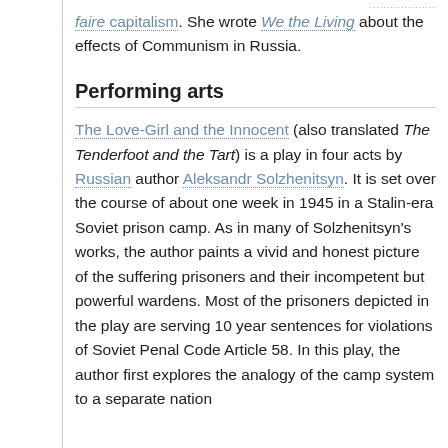faire capitalism. She wrote We the Living about the effects of Communism in Russia.
Performing arts
The Love-Girl and the Innocent (also translated The Tenderfoot and the Tart) is a play in four acts by Russian author Aleksandr Solzhenitsyn. It is set over the course of about one week in 1945 in a Stalin-era Soviet prison camp. As in many of Solzhenitsyn's works, the author paints a vivid and honest picture of the suffering prisoners and their incompetent but powerful wardens. Most of the prisoners depicted in the play are serving 10 year sentences for violations of Soviet Penal Code Article 58. In this play, the author first explores the analogy of the camp system to a separate nation